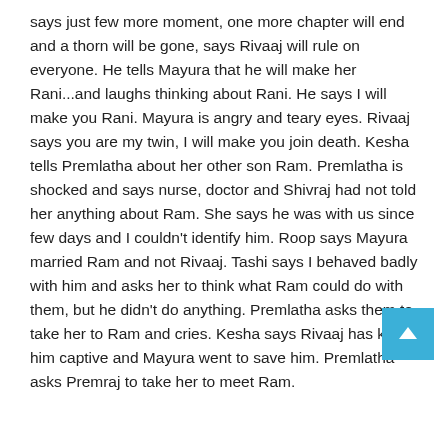says just few more moment, one more chapter will end and a thorn will be gone, says Rivaaj will rule on everyone. He tells Mayura that he will make her Rani...and laughs thinking about Rani. He says I will make you Rani. Mayura is angry and teary eyes. Rivaaj says you are my twin, I will make you join death. Kesha tells Premlatha about her other son Ram. Premlatha is shocked and says nurse, doctor and Shivraj had not told her anything about Ram. She says he was with us since few days and I couldn't identify him. Roop says Mayura married Ram and not Rivaaj. Tashi says I behaved badly with him and asks her to think what Ram could do with them, but he didn't do anything. Premlatha asks them to take her to Ram and cries. Kesha says Rivaaj has kept him captive and Mayura went to save him. Premlatha asks Premraj to take her to meet Ram.